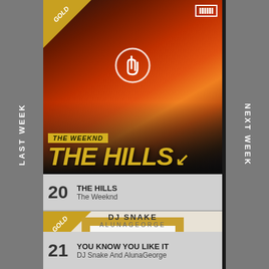LAST WEEK
NEXT WEEK
[Figure (photo): Album art for The Hills by The Weeknd - dark moody artwork with orange/red fire tones and GOLD badge, text overlay THE WEEKND / THE HILLS]
20  THE HILLS
The Weeknd
[Figure (photo): Album art for You Know You Like It by DJ Snake and AlunaGeorge - cream background with gold frame containing handwritten-style artwork, GOLD badge, DJ Snake / AlunaGeorge credits]
21  YOU KNOW YOU LIKE IT
DJ Snake And AlunaGeorge